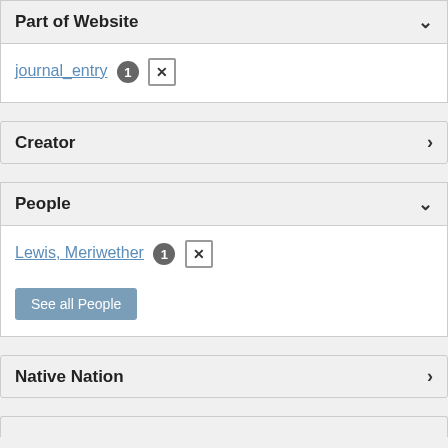Part of Website
journal_entry 1 ×
Creator
People
Lewis, Meriwether 1 ×
See all People
Native Nation